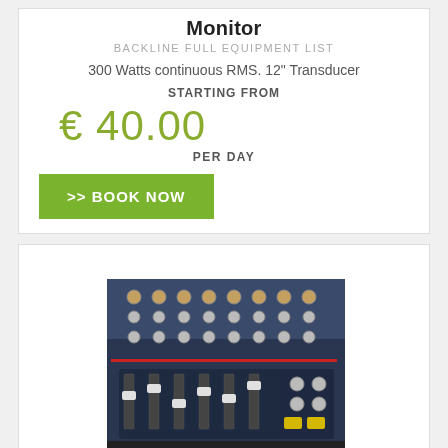Monitor
BACKLINE FULL EQUIPMENT LIST
300 Watts continuous RMS. 12" Transducer
STARTING FROM
€ 40.00
PER DAY
>> BOOK NOW
[Figure (photo): Soundcraft EFX8 mixing desk — top-down angled view showing faders, knobs, and controls on a dark blue/grey panel]
Mixer: Soundcraft EFX8 mixing desk
BACKLINE FULL EQUIPMENT LIST
8 Mic/line mono, and 2 stereo line channels. 32 Lexicon